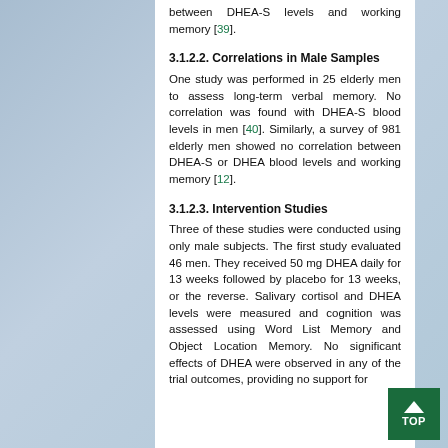between DHEA-S levels and working memory [39].
3.1.2.2. Correlations in Male Samples
One study was performed in 25 elderly men to assess long-term verbal memory. No correlation was found with DHEA-S blood levels in men [40]. Similarly, a survey of 981 elderly men showed no correlation between DHEA-S or DHEA blood levels and working memory [12].
3.1.2.3. Intervention Studies
Three of these studies were conducted using only male subjects. The first study evaluated 46 men. They received 50 mg DHEA daily for 13 weeks followed by placebo for 13 weeks, or the reverse. Salivary cortisol and DHEA levels were measured and cognition was assessed using Word List Memory and Object Location Memory. No significant effects of DHEA were observed in any of the trial outcomes, providing no support for